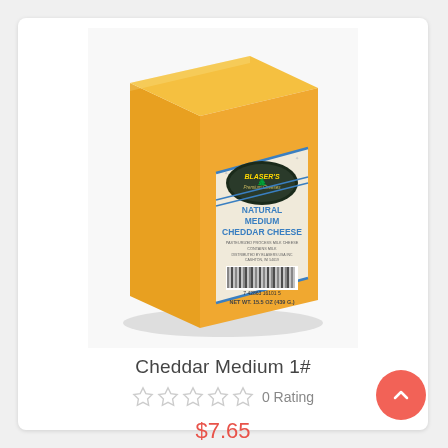[Figure (photo): Block of Blaser's Natural Medium Cheddar Cheese with yellow/orange wax exterior and product label showing barcode and net weight 15.5 oz (439g)]
Cheddar Medium 1#
☆ ☆ ☆ ☆ ☆ 0 Rating
$7.65